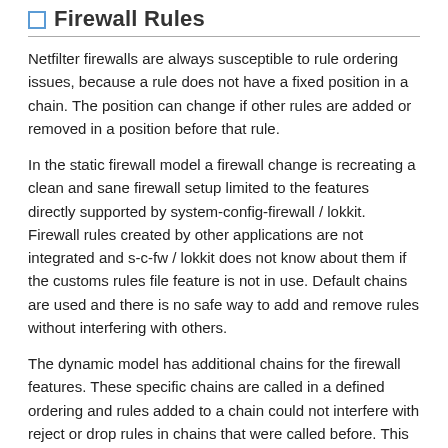Firewall Rules
Netfilter firewalls are always susceptible to rule ordering issues, because a rule does not have a fixed position in a chain. The position can change if other rules are added or removed in a position before that rule.
In the static firewall model a firewall change is recreating a clean and sane firewall setup limited to the features directly supported by system-config-firewall / lokkit. Firewall rules created by other applications are not integrated and s-c-fw / lokkit does not know about them if the customs rules file feature is not in use. Default chains are used and there is no safe way to add and remove rules without interfering with others.
The dynamic model has additional chains for the firewall features. These specific chains are called in a defined ordering and rules added to a chain could not interfere with reject or drop rules in chains that were called before. This makes it possible to have a more sane firewall configuration.
Here are example rules created by the daemon in the filter table with a basic direct rules and blocking the public...